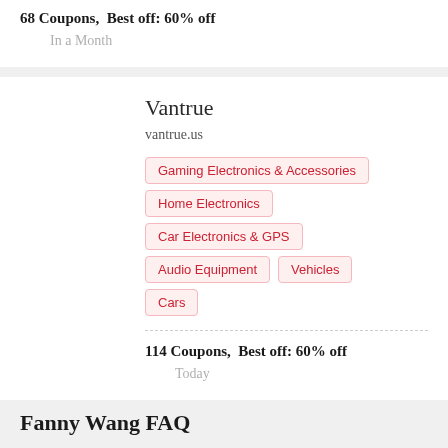68 Coupons,  Best off: 60% off
In a Month
Vantrue
vantrue.us
Gaming Electronics & Accessories
Home Electronics
Car Electronics & GPS
Audio Equipment
Vehicles
Cars
114 Coupons,  Best off: 60% off
Today
Fanny Wang FAQ